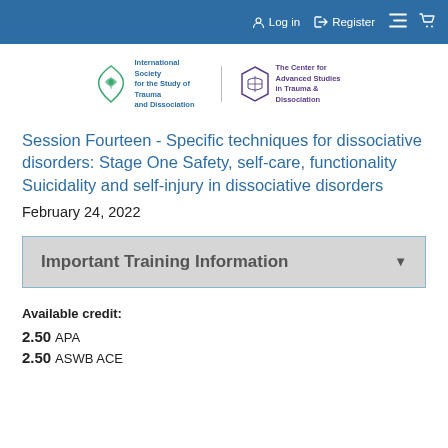Log in  Register
[Figure (logo): International Society for the Study of Trauma and Dissociation logo and The Center for Advanced Studies in Trauma & Dissociation logo]
Session Fourteen - Specific techniques for dissociative disorders: Stage One Safety, self-care, functionality Suicidality and self-injury in dissociative disorders
February 24, 2022
Important Training Information
Available credit:
2.50 APA
2.50 ASWB ACE